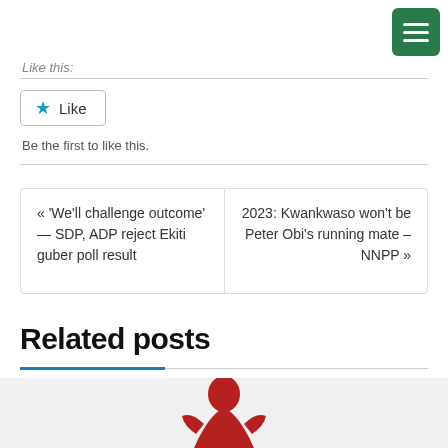Like this:
Like
Be the first to like this.
« 'We'll challenge outcome' — SDP, ADP reject Ekiti guber poll result
2023: Kwankwaso won't be Peter Obi's running mate – NNPP »
Related posts